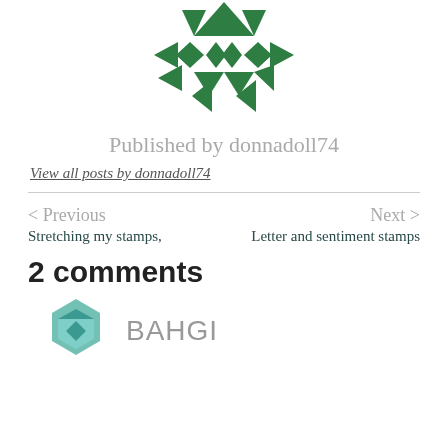[Figure (logo): Green geometric quilt-pattern logo made of triangles and diamond shapes arranged in a circular/star pattern]
Published by donnadoll74
View all posts by donnadoll74
< Previous
Stretching my stamps,
Next >
Letter and sentiment stamps
2 comments
[Figure (logo): Teal/green geometric hexagonal logo at bottom with text BAHGL]